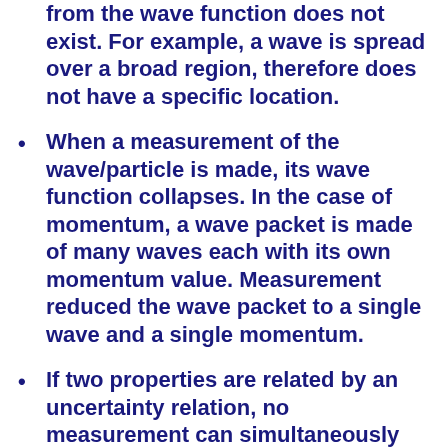from the wave function does not exist. For example, a wave is spread over a broad region, therefore does not have a specific location.
When a measurement of the wave/particle is made, its wave function collapses. In the case of momentum, a wave packet is made of many waves each with its own momentum value. Measurement reduced the wave packet to a single wave and a single momentum.
If two properties are related by an uncertainty relation, no measurement can simultaneously determine both properties to a precision greater than the uncertainty relation allows. Specif...